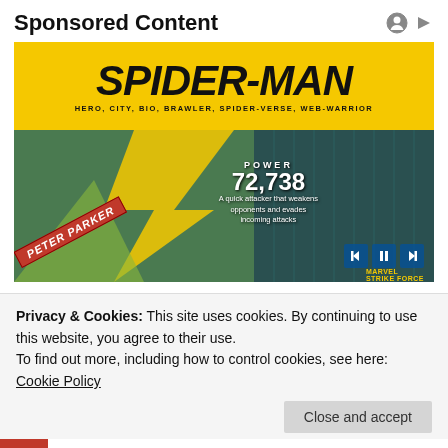Sponsored Content
[Figure (illustration): Spider-Man promotional banner ad. Yellow top section with bold italic text SPIDER-MAN and subtitle HERO, CITY, BIO, BRAWLER, SPIDER-VERSE, WEB-WARRIOR. Lower section shows Spider-Man characters against a green city background. Center text: POWER 72,738 - A quick attacker that weakens opponents and evades incoming attacks. Peter Parker label in red banner at bottom left. Media playback controls at bottom right. Marvel Strike Force logo.]
Privacy & Cookies: This site uses cookies. By continuing to use this website, you agree to their use.
To find out more, including how to control cookies, see here: Cookie Policy
Close and accept
MacGraw? This Is Her Net